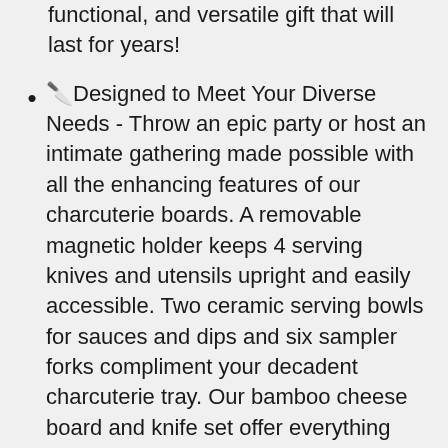functional, and versatile gift that will last for years!
🔪Designed to Meet Your Diverse Needs - Throw an epic party or host an intimate gathering made possible with all the enhancing features of our charcuterie boards. A removable magnetic holder keeps 4 serving knives and utensils upright and easily accessible. Two ceramic serving bowls for sauces and dips and six sampler forks compliment your decadent charcuterie tray. Our bamboo cheese board and knife set offer everything you need to build a stunning presentation for family and friends.
🔪Unlock Your Creativity - We include a